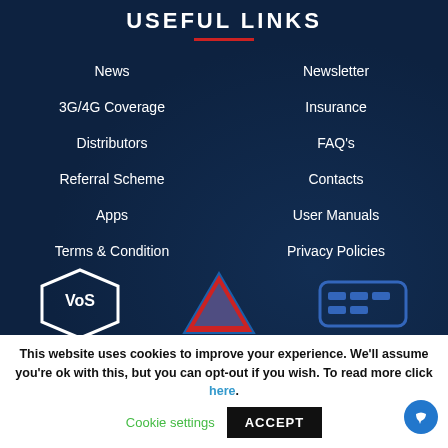USEFUL LINKS
News
Newsletter
3G/4G Coverage
Insurance
Distributors
FAQ's
Referral Scheme
Contacts
Apps
User Manuals
Terms & Condition
Privacy Policies
[Figure (logo): Three partner/certification logos at bottom of page]
This website uses cookies to improve your experience. We'll assume you're ok with this, but you can opt-out if you wish. To read more click here. Cookie settings ACCEPT